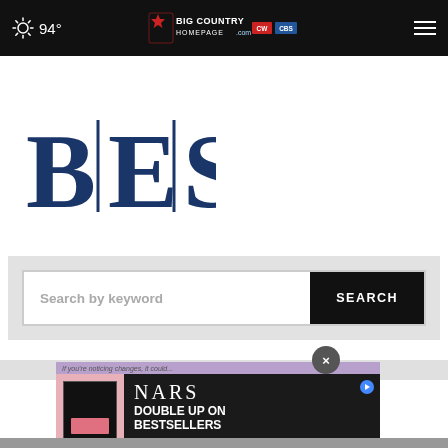94° Big Country Homepage
[Figure (logo): BES logo with vertical dividers between letters, dark navy blue serif font]
Search by keyword
[Figure (advertisement): NARS Double Up On Bestsellers Shop Now advertisement with NARS palette image]